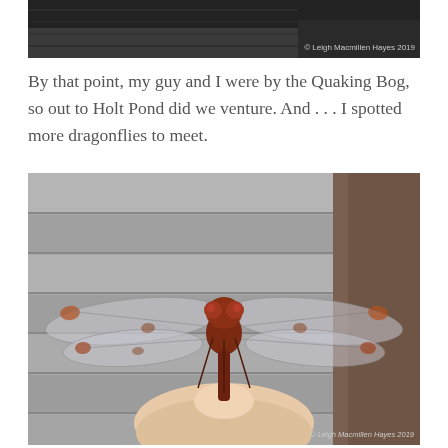[Figure (photo): Partial top image with dark/wood background and copyright watermark '© Leigh Macmillen Hayes 2019' in lower right corner]
By that point, my guy and I were by the Quaking Bog, so out to Holt Pond did we venture. And . . . I spotted more dragonflies to meet.
[Figure (photo): Close-up photograph of a dragonfly perched on a person's finger/thumb, with gray wooden slat background. The dragonfly has translucent wings spread wide, reddish-brown body and large compound eyes. Copyright watermark '© Leigh Macmillen Hayes 2019' in lower right corner.]